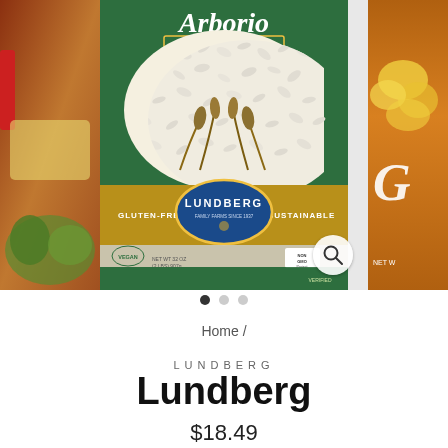[Figure (photo): Product carousel showing Lundberg Rice bag in center (green packaging with yellow Gluten-Free / Sustainable band, Lundberg Family Farms oval logo, Non-GMO badge). Left panel shows partial competitor product. Right panel shows partial competitor product. Magnify button at bottom right of center image.]
• • •
Home /
LUNDBERG
Lundberg
$18.49